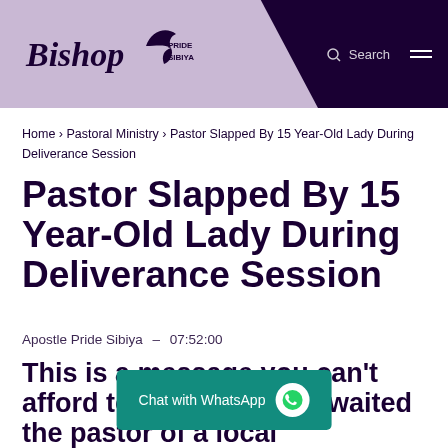Bishop Pride Sibiya — Search
Home › Pastoral Ministry › Pastor Slapped By 15 Year-Old Lady During Deliverance Session
Pastor Slapped By 15 Year-Old Lady During Deliverance Session
Apostle Pride Sibiya  –  07:52:00
This is a message you can't afford to miss-patiently waited the pastor of a local congregation. But he had a silent weakness eating up